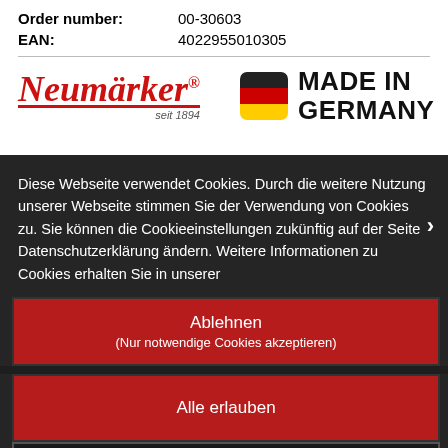Order number: 00-30603
EAN: 4022955010305
[Figure (logo): Neumärker brand logo with red script text and 'seit 1894', alongside Made in Germany badge with German flag]
Diese Webseite verwendet Cookies. Durch die weitere Nutzung unserer Webseite stimmen Sie der Verwendung von Cookies zu. Sie können die Cookieeinstellungen zukünftig auf der Seite Datenschutzerklärung ändern. Weitere Informationen zu Cookies erhalten Sie in unserer
Ablehnen (Nur notwendige Cookies akzeptieren)
Alle erlauben
Einstellungen anpassen
Downloads